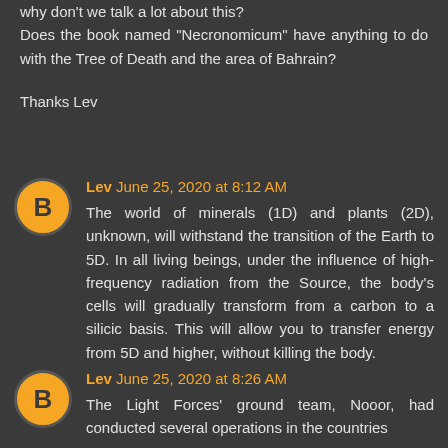Why don't we talk a lot about this? Does the book named "Necronomicum" have anything to do with the Tree of Death and the area of Bahrain?

Thanks Lev
Lev  June 25, 2020 at 8:12 AM
The world of minerals (1D) and plants (2D), unknown, will withstand the transition of the Earth to 5D. In all living beings, under the influence of high-frequency radiation from the Source, the body's cells will gradually transform from a carbon to a silicic basis. This will allow you to transfer energy from 5D and higher, without killing the body.
Lev  June 25, 2020 at 8:26 AM
The Light Forces' ground team, Nooor, had conducted several operations in the countries